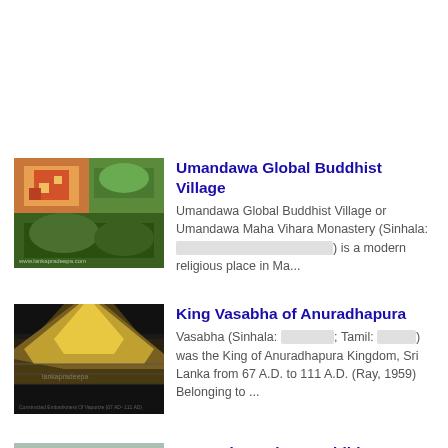[Figure (photo): Thumbnail collage of Umandawa Global Buddhist Village showing temple and landscape]
Umandawa Global Buddhist Village
Umandawa Global Buddhist Village or Umandawa Maha Vihara Monastery (Sinhala: [Sinhala script]) is a modern religious place in Ma...
[Figure (photo): Thumbnail image of King Vasabha of Anuradhapura showing ancient stone/wall]
King Vasabha of Anuradhapura
Vasabha (Sinhala: [Sinhala script]; Tamil: [Tamil script]) was the King of Anuradhapura Kingdom, Sri Lanka from 67 A.D. to 111 A.D. (Ray, 1959) Belonging to ...
[Figure (photo): Thumbnail image of Kuragala Ancient Buddhist Monastery showing rocky landscape]
Kuragala Ancient Buddhist Monastery
Kuragala (Sinhala: [Sinhala script]) is an archaeological site consisting of the ruins of an ancient Buddhist cave temple. ...